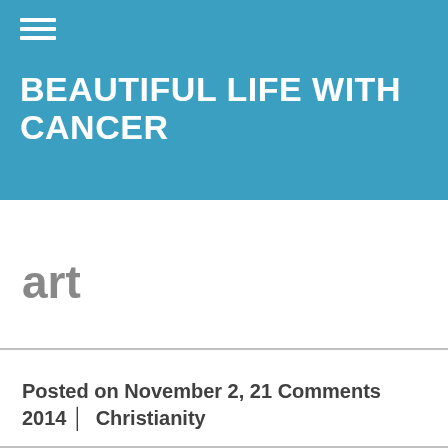BEAUTIFUL LIFE WITH CANCER
art
Posted on November 2, 21 Comments 2014 | Christianity